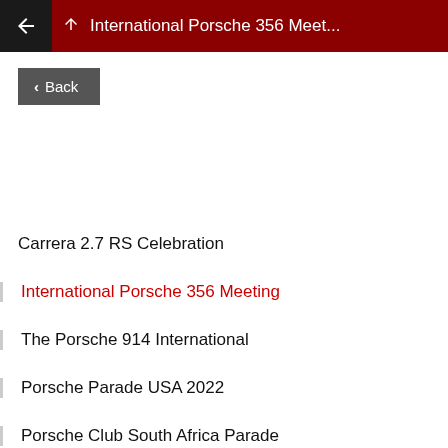International Porsche 356 Meet...
< Back
Carrera 2.7 RS Celebration
International Porsche 356 Meeting
The Porsche 914 International
Porsche Parade USA 2022
Porsche Club South Africa Parade